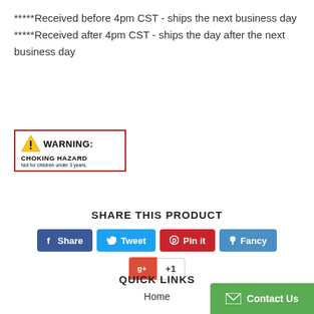*****Received before 4pm CST - ships the next business day *****Received after 4pm CST - ships the day after the next business day
[Figure (infographic): WARNING: CHOKING HAZARD - Not for children under 3 years. Yellow triangle warning icon with exclamation mark, red border box.]
SHARE THIS PRODUCT
Share | Tweet | Pin it | Fancy | +1
QUICK LINKS
Home
[Figure (other): Contact Us button - green background with envelope icon]